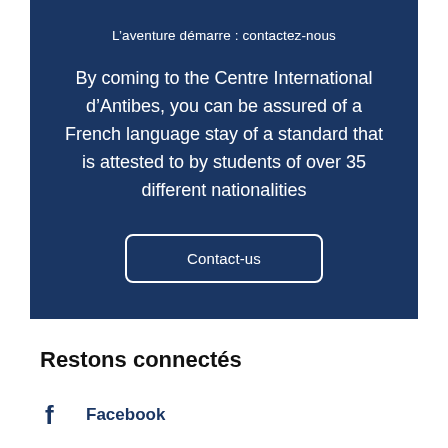L’aventure démarre : contactez-nous
By coming to the Centre International d’Antibes, you can be assured of a French language stay of a standard that is attested to by students of over 35 different nationalities
Contact-us
Restons connectés
Facebook